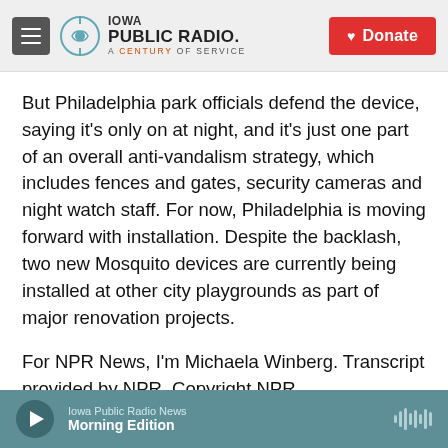Iowa Public Radio. A Century of Service. Donate.
But Philadelphia park officials defend the device, saying it's only on at night, and it's just one part of an overall anti-vandalism strategy, which includes fences and gates, security cameras and night watch staff. For now, Philadelphia is moving forward with installation. Despite the backlash, two new Mosquito devices are currently being installed at other city playgrounds as part of major renovation projects.
For NPR News, I'm Michaela Winberg. Transcript provided by NPR, Copyright NPR.
Iowa Public Radio News Morning Edition